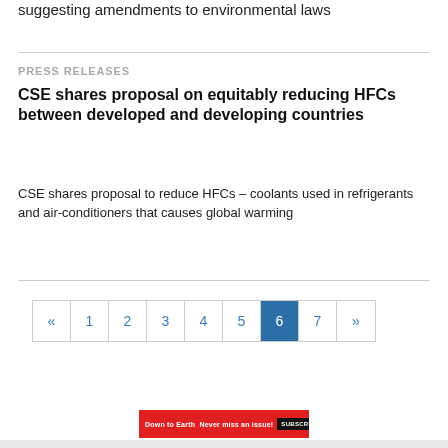suggesting amendments to environmental laws
PRESS RELEASES
CSE shares proposal on equitably reducing HFCs between developed and developing countries
CSE shares proposal to reduce HFCs – coolants used in refrigerants and air-conditioners that causes global warming
Pagination: « 1 2 3 4 5 6 (active) 7 »